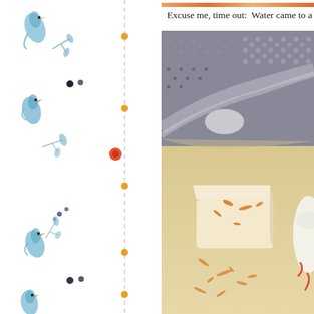[Figure (illustration): Decorative sidebar with watercolor-style blue birds, leaves, flowers, dots, and a vertical dashed line with small gold/orange circle markers]
[Figure (photo): Partial top strip showing an orange/warm-toned food photo at the very top]
Excuse me, time out:  Water came to a
[Figure (photo): Close-up photo of what appears to be cheese or butter being grated on a box grater, with orange zest or grated cheese pieces scattered on a light surface. A metal grater with a checkered dot pattern is visible in the background.]